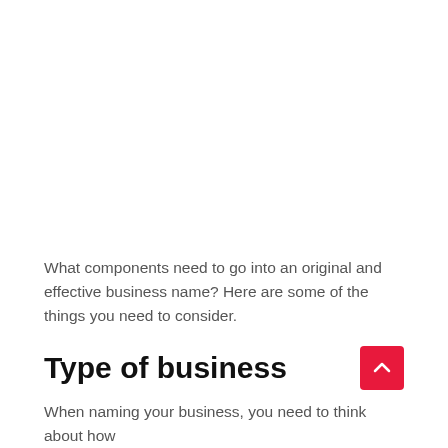What components need to go into an original and effective business name? Here are some of the things you need to consider.
Type of business
When naming your business, you need to think about how